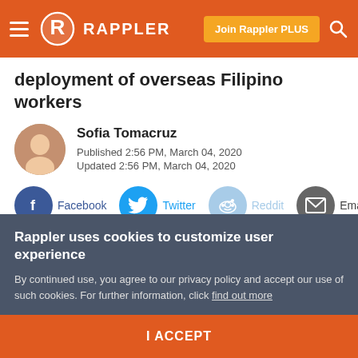Rappler — navigation bar with hamburger menu, Rappler logo, Join Rappler PLUS button, and search icon
deployment of overseas Filipino workers
Sofia Tomacruz
Published 2:56 PM, March 04, 2020
Updated 2:56 PM, March 04, 2020
Facebook   Twitter   Reddit   Email
Rappler uses cookies to customize user experience
By continued use, you agree to our privacy policy and accept our use of such cookies. For further information, click find out more
I ACCEPT